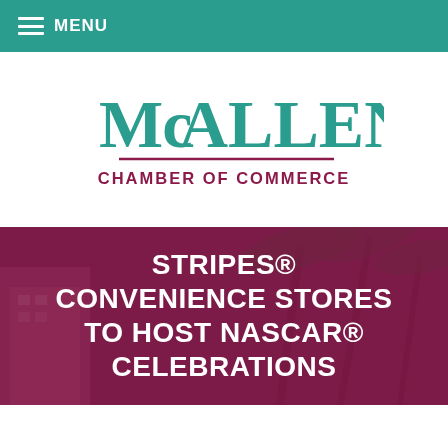MENU
[Figure (logo): McAllen Chamber of Commerce logo — stylized teal and maroon text 'McALLEN' above 'CHAMBER OF COMMERCE' with decorative underline]
STRIPES® CONVENIENCE STORES TO HOST NASCAR® CELEBRATIONS